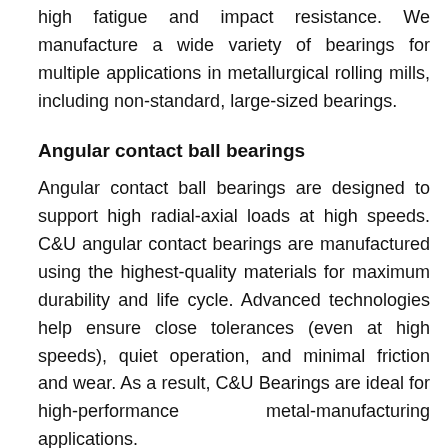high fatigue and impact resistance. We manufacture a wide variety of bearings for multiple applications in metallurgical rolling mills, including non-standard, large-sized bearings.
Angular contact ball bearings
Angular contact ball bearings are designed to support high radial-axial loads at high speeds. C&U angular contact bearings are manufactured using the highest-quality materials for maximum durability and life cycle. Advanced technologies help ensure close tolerances (even at high speeds), quiet operation, and minimal friction and wear. As a result, C&U Bearings are ideal for high-performance metal-manufacturing applications.
Cylindrical roller bearings
Ideal for high speeds, high temperatures, and high load